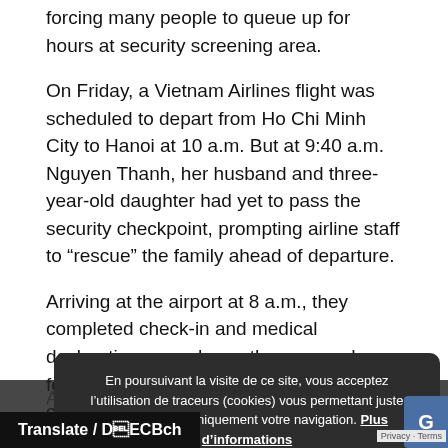forcing many people to queue up for hours at security screening area.
On Friday, a Vietnam Airlines flight was scheduled to depart from Ho Chi Minh City to Hanoi at 10 a.m. But at 9:40 a.m. Nguyen Thanh, her husband and three-year-old daughter had yet to pass the security checkpoint, prompting airline staff to “rescue” the family ahead of departure.
Arriving at the airport at 8 a.m., they completed check-in and medical declaration procedures, then queued up for an hour waiting to pass the security checkpoint.
Another Vietnam Airlines flight was scheduled to leave HCMC for... before departure, many passengers... the security checkpoint.
En poursuivant la visite de ce site, vous acceptez l’utilisation de traceurs (cookies) vous permettant juste d’optimiser techniquement votre navigation. Plus d’informations
Translate / Dịch
o go on a weekend trip – I was